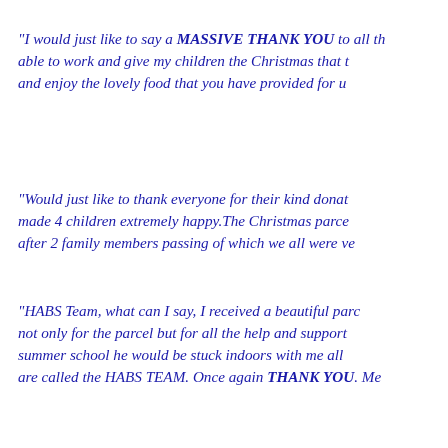“I would just like to say a MASSIVE THANK YOU to all th able to work and give my children the Christmas that t and enjoy the lovely food that you have provided for u
“Would just like to thank everyone for their kind donat made 4 children extremely happy.The Christmas parce after 2 family members passing of which we all were ve
“HABS Team, what can I say, I received a beautiful parc not only for the parcel but for all the help and support summer school he would be stuck indoors with me all are called the HABS TEAM. Once again THANK YOU. Me